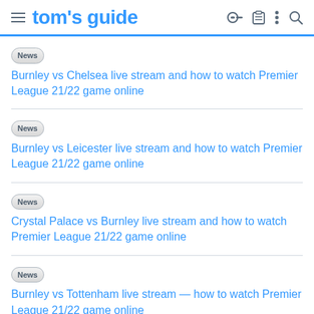tom's guide
News Burnley vs Chelsea live stream and how to watch Premier League 21/22 game online
News Burnley vs Leicester live stream and how to watch Premier League 21/22 game online
News Crystal Palace vs Burnley live stream and how to watch Premier League 21/22 game online
News Burnley vs Tottenham live stream — how to watch Premier League 21/22 game online
News Arsenal vs Burnley live stream — how to watch Premier